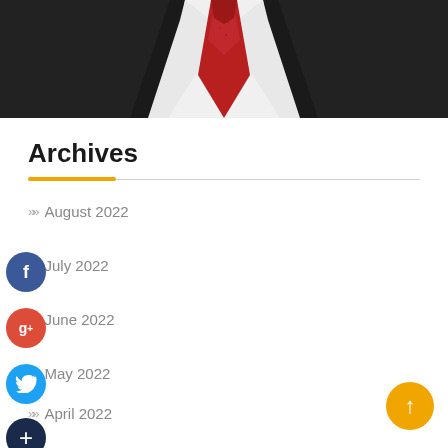[Figure (photo): Partial photo of a person in a dark suit with a white shirt and red tie, cropped at the neck/chest area]
Archives
August 2022
July 2022
June 2022
May 2022
April 2022
March 2022